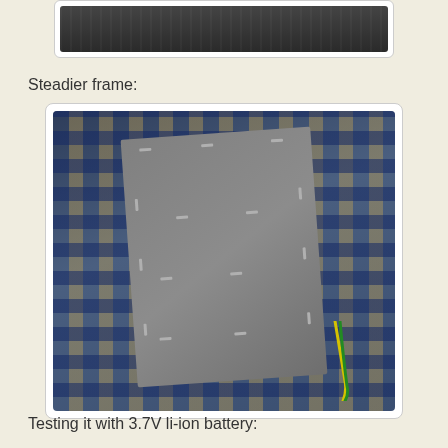[Figure (photo): Partial view of a photo at the top of the page, cropped, showing a dark surface or object]
Steadier frame:
[Figure (photo): Photo of a grey rectangular board/frame with visible stitching marks around the edges, placed on a blue and white plaid fabric. Colored wires (yellow and green) are visible at the bottom-right corner of the board.]
Testing it with 3.7V li-ion battery: